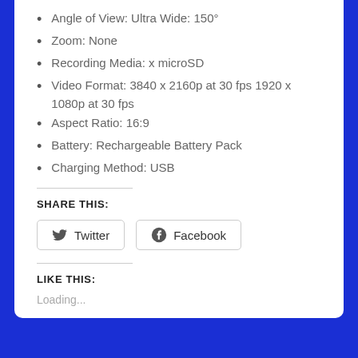Angle of View: Ultra Wide: 150°
Zoom: None
Recording Media: x microSD
Video Format: 3840 x 2160p at 30 fps 1920 x 1080p at 30 fps
Aspect Ratio: 16:9
Battery: Rechargeable Battery Pack
Charging Method: USB
SHARE THIS:
LIKE THIS:
Loading...